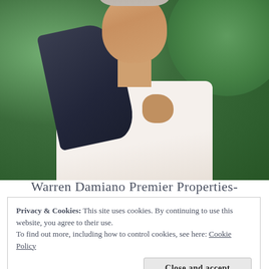[Figure (photo): Portrait photo of a smiling middle-aged man with gray/white hair wearing a white shirt and holding a dark navy jacket over his shoulder, photographed outdoors with green foliage in the background.]
Warren Damiano Premier Properties-
Privacy & Cookies: This site uses cookies. By continuing to use this website, you agree to their use.
To find out more, including how to control cookies, see here: Cookie Policy
Close and accept